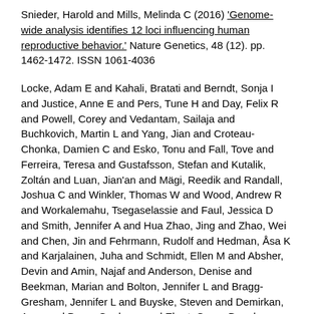Snieder, Harold and Mills, Melinda C (2016) 'Genome-wide analysis identifies 12 loci influencing human reproductive behavior.' Nature Genetics, 48 (12). pp. 1462-1472. ISSN 1061-4036
Locke, Adam E and Kahali, Bratati and Berndt, Sonja I and Justice, Anne E and Pers, Tune H and Day, Felix R and Powell, Corey and Vedantam, Sailaja and Buchkovich, Martin L and Yang, Jian and Croteau-Chonka, Damien C and Esko, Tonu and Fall, Tove and Ferreira, Teresa and Gustafsson, Stefan and Kutalik, Zoltán and Luan, Jian'an and Mägi, Reedik and Randall, Joshua C and Winkler, Thomas W and Wood, Andrew R and Workalemahu, Tsegaselassie and Faul, Jessica D and Smith, Jennifer A and Hua Zhao, Jing and Zhao, Wei and Chen, Jin and Fehrmann, Rudolf and Hedman, Åsa K and Karjalainen, Juha and Schmidt, Ellen M and Absher, Devin and Amin, Najaf and Anderson, Denise and Beekman, Marian and Bolton, Jennifer L and Bragg-Gresham, Jennifer L and Buyske, Steven and Demirkan, Ayse and Deng, Guohong and Ehret, Georg B and Feenstra, Bjarke and Feitosa, Mary F and Fischer, Krista and Goel, Anuj and Gong, Jian and Jackson, Anne U and Kanoni, Stavroula and Kleber, Marcus E and Kristiansson, Kati and Lim, Unhee and Lotay, Vaneet and Mangino, Massimo and Mateo Leach, Irene and Medina-Gomez, Carolina and Medland, Sarah